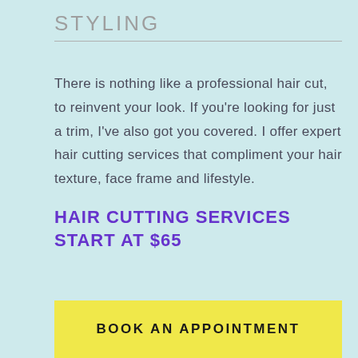STYLING
There is nothing like a professional hair cut, to reinvent your look. If you're looking for just a trim, I've also got you covered. I offer expert hair cutting services that compliment your hair texture, face frame and lifestyle.
HAIR CUTTING SERVICES START AT $65
BOOK AN APPOINTMENT